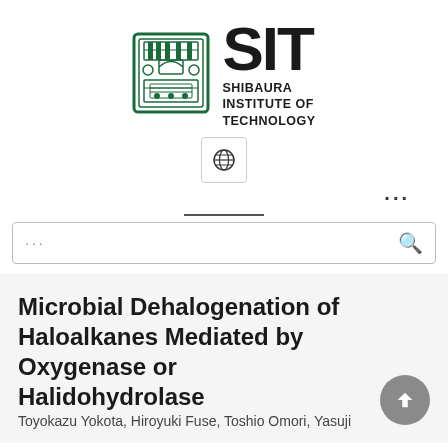[Figure (logo): Shibaura Institute of Technology (SIT) logo with green emblem on the left and bold SIT text with SHIBAURA INSTITUTE OF TECHNOLOGY text on the right]
[Figure (logo): Globe/language selector icon button with globe symbol]
[Figure (screenshot): Three horizontal dots (ellipsis/more options) navigation element]
[Figure (screenshot): Search bar with three dots placeholder and magnifying glass icon]
Microbial Dehalogenation of Haloalkanes Mediated by Oxygenase or Halidohydrolase
Toyokazu Yokota, Hiroyuki Fuse, Toshio Omori, Yasuji